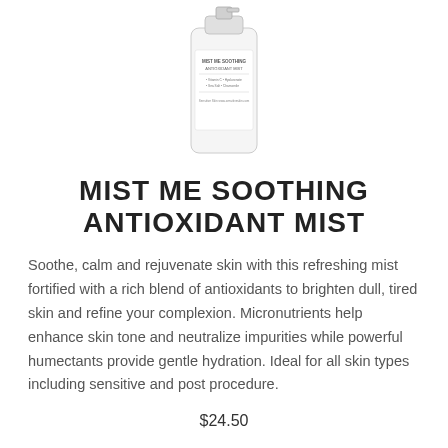[Figure (photo): White spray bottle product (Mist Me Soothing Antioxidant Mist) with label text including ingredients like Vitamin C, Sea Salt, Chamomile]
MIST ME SOOTHING ANTIOXIDANT MIST
Soothe, calm and rejuvenate skin with this refreshing mist fortified with a rich blend of antioxidants to brighten dull, tired skin and refine your complexion. Micronutrients help enhance skin tone and neutralize impurities while powerful humectants provide gentle hydration. Ideal for all skin types including sensitive and post procedure.
$24.50